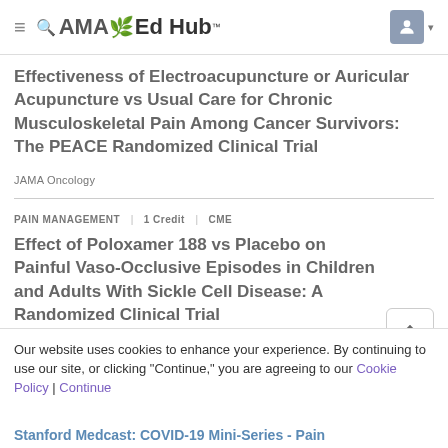AMA Ed Hub
Effectiveness of Electroacupuncture or Auricular Acupuncture vs Usual Care for Chronic Musculoskeletal Pain Among Cancer Survivors: The PEACE Randomized Clinical Trial
JAMA Oncology
PAIN MANAGEMENT   1 Credit   CME
Effect of Poloxamer 188 vs Placebo on Painful Vaso-Occlusive Episodes in Children and Adults With Sickle Cell Disease: A Randomized Clinical Trial
JAMA
Our website uses cookies to enhance your experience. By continuing to use our site, or clicking "Continue," you are agreeing to our Cookie Policy | Continue
Stanford Medcast: COVID-19 Mini-Series - Pain